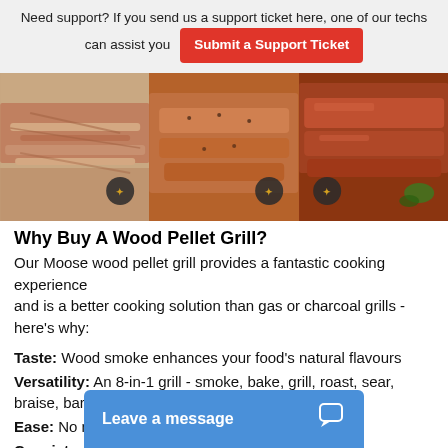Need support? If you send us a support ticket here, one of our techs can assist you  [Submit a Support Ticket]
[Figure (photo): Three food photos side by side: shredded pulled pork (left), seasoned grilled ribs (center), glazed BBQ ribs (right), each with a small branded badge overlay]
Why Buy A Wood Pellet Grill?
Our Moose wood pellet grill provides a fantastic cooking experience and is a better cooking solution than gas or charcoal grills - here's why:
Taste: Wood smoke enhances your food's natural flavours
Versatility: An 8-in-1 grill - smoke, bake, grill, roast, sear, braise, barbeque or char-grill
Ease: No need to babysit - set it and forget it!
Consistency: Cook like a pro every time
Community: Recipes available...
Leave a message